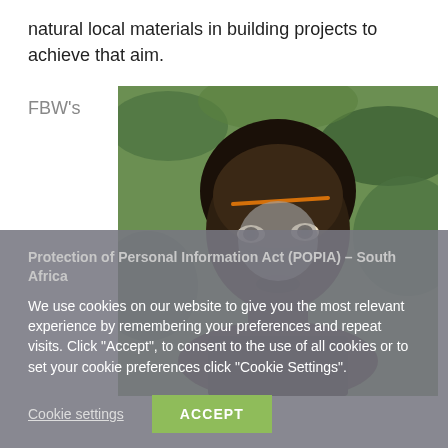natural local materials in building projects to achieve that aim.
FBW's
[Figure (photo): Portrait photo of a man with green foliage background, partially obscured by cookie consent overlay. An orange highlight line appears across the forehead area.]
Protection of Personal Information Act (POPIA) – South Africa
We use cookies on our website to give you the most relevant experience by remembering your preferences and repeat visits. Click "Accept", to consent to the use of all cookies or to set your cookie preferences click "Cookie Settings".
Cookie settings
ACCEPT